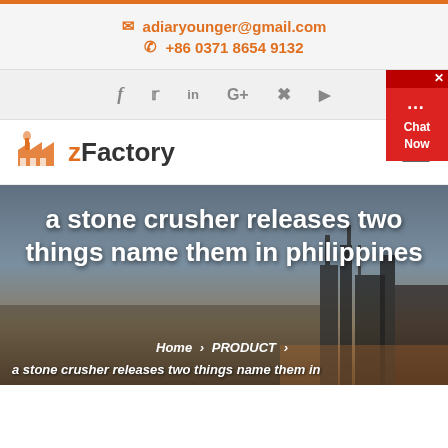adiaryounger@gmail.com  +86 0371 8654 9132
[Figure (screenshot): Social media icons: Facebook, Twitter, LinkedIn, Google+, Pinterest, YouTube]
[Figure (logo): zFactory logo with orange factory icon and text]
[Figure (photo): Industrial facility/refinery at dusk with large title overlay: a stone crusher releases two things name them in philippines]
a stone crusher releases two things name them in philippines
Home > PRODUCT > a stone crusher releases two things name them in